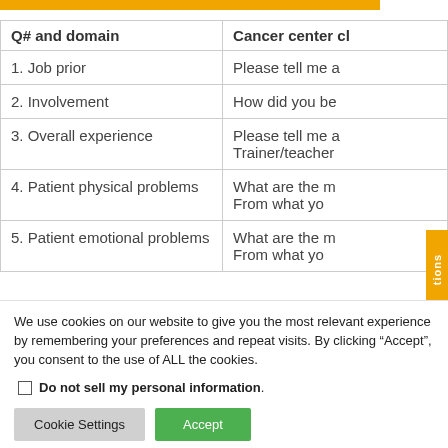| Q# and domain | Cancer center cl |
| --- | --- |
| 1. Job prior | Please tell me a |
| 2. Involvement | How did you be |
| 3. Overall experience | Please tell me a
Trainer/teacher |
| 4. Patient physical problems | What are the m
From what yo |
| 5. Patient emotional problems | What are the m
From what yo |
We use cookies on our website to give you the most relevant experience by remembering your preferences and repeat visits. By clicking “Accept”, you consent to the use of ALL the cookies.
Do not sell my personal information